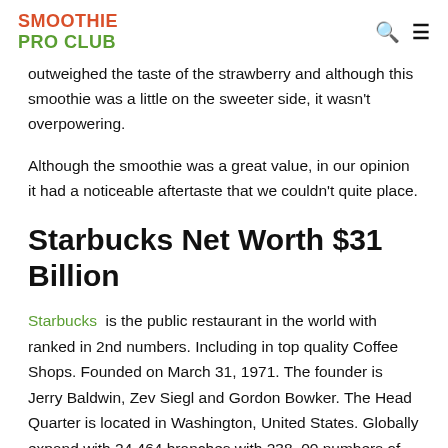SMOOTHIE PRO CLUB
outweighed the taste of the strawberry and although this smoothie was a little on the sweeter side, it wasn't overpowering.
Although the smoothie was a great value, in our opinion it had a noticeable aftertaste that we couldn't quite place.
Starbucks Net Worth $31 Billion
Starbucks  is the public restaurant in the world with ranked in 2nd numbers. Including in top quality Coffee Shops. Founded on March 31, 1971. The founder is Jerry Baldwin, Zev Siegl and Gordon Bowker. The Head Quarter is located in Washington, United States. Globally expand with 24,464 branches with 238, 00 numbers of employees. The main